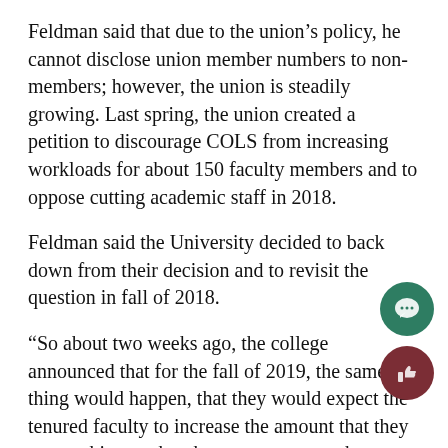Feldman said that due to the union's policy, he cannot disclose union member numbers to non-members; however, the union is steadily growing. Last spring, the union created a petition to discourage COLS from increasing workloads for about 150 faculty members and to oppose cutting academic staff in 2018.
Feldman said the University decided to back down from their decision and to revisit the question in fall of 2018.
“So about two weeks ago, the college announced that for the fall of 2019, the same thing would happen, that they would expect the tenured faculty to increase the amount that they are teaching so that they cannot renew the contracts for academic staff,” Feldman sa
Feldman said Wisconsin Act 10 stopped public sector employees from having collective bargaining rights the ability for the union to negotiate with the University